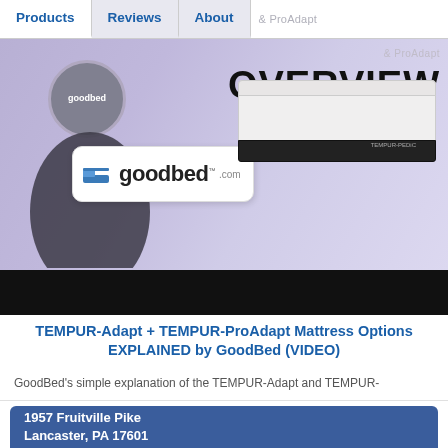Products | Reviews | About | & ProAdapt
[Figure (screenshot): Video thumbnail showing a man in a GoodBed t-shirt holding a GoodBed.com sign, with a Tempur-Pedic mattress on the right and 'OVERVIEW' text overlay on a purple background]
TEMPUR-Adapt + TEMPUR-ProAdapt Mattress Options EXPLAINED by GoodBed (VIDEO)
GoodBed's simple explanation of the TEMPUR-Adapt and TEMPUR-
1957 Fruitville Pike
Lancaster, PA 17601
[Figure (map): Google map showing the area around 1957 Fruitville Pike, Lancaster PA 17601, with Overlook Park labeled and route numbers 741, 283, 272 visible]